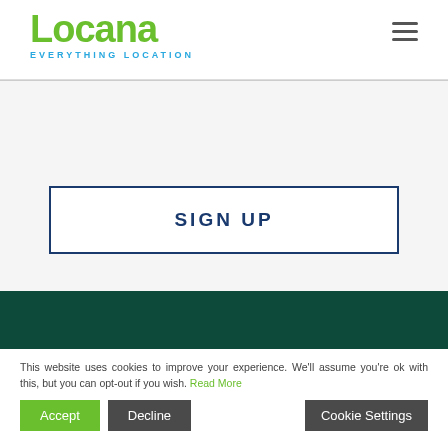[Figure (logo): Locana logo — green bold text 'Locana' with blue tagline 'EVERYTHING LOCATION' beneath]
[Figure (other): Hamburger menu icon (three horizontal lines) in top right corner]
SIGN UP
This website uses cookies to improve your experience. We'll assume you're ok with this, but you can opt-out if you wish. Read More
Accept
Decline
Cookie Settings